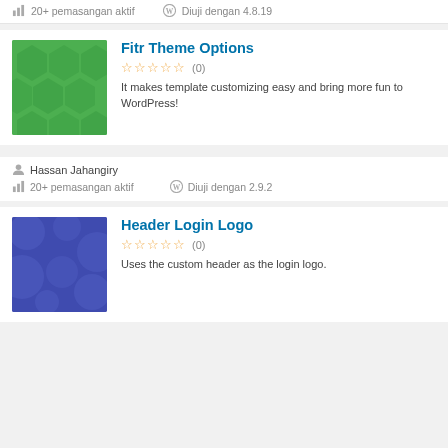20+ pemasangan aktif   Diuji dengan 4.8.19
[Figure (illustration): Green hexagon pattern plugin thumbnail]
Fitr Theme Options
★★★★★ (0)
It makes template customizing easy and bring more fun to WordPress!
Hassan Jahangiry
20+ pemasangan aktif   Diuji dengan 2.9.2
[Figure (illustration): Blue circles pattern plugin thumbnail]
Header Login Logo
★★★★★ (0)
Uses the custom header as the login logo.